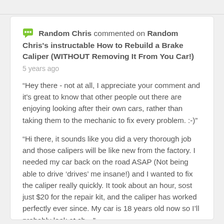Random Chris commented on Random Chris's instructable How to Rebuild a Brake Caliper (WITHOUT Removing It From You Car!)
5 years ago
“Hey there - not at all, I appreciate your comment and it's great to know that other people out there are enjoying looking after their own cars, rather than taking them to the mechanic to fix every problem. :-)”
“Hi there, it sounds like you did a very thorough job and those calipers will be like new from the factory. I needed my car back on the road ASAP (Not being able to drive ‘drives’ me insane!) and I wanted to fix the caliper really quickly. It took about an hour, sost just $20 for the repair kit, and the caliper has worked perfectly ever since. My car is 18 years old now so I’ll probably look at ch…”
see more »